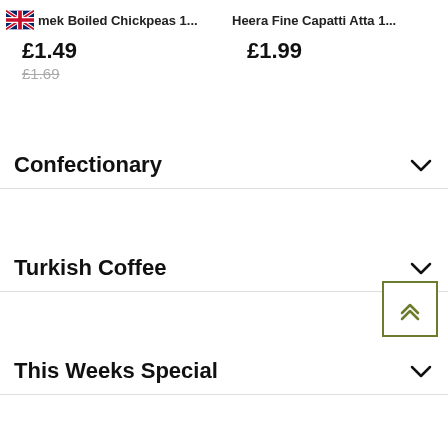mek Boiled Chickpeas 1...    Heera Fine Capatti Atta 1...
£1.49
£1.69
£1.99
Confectionary
Turkish Coffee
This Weeks Special